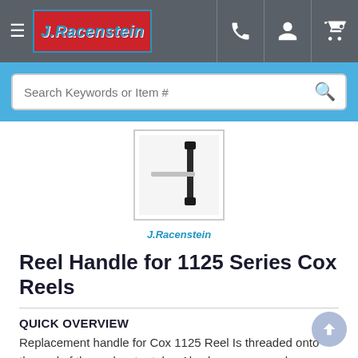J.Racenstein navigation bar with logo, hamburger menu, phone, account, and cart icons
[Figure (screenshot): Search bar with placeholder text 'Search Keywords or Item #' and a magnifying glass icon, on a blue background]
[Figure (photo): Thumbnail image of a reel handle product — a metal crank arm against a white background]
J.Racenstein
Reel Handle for 1125 Series Cox Reels
QUICK OVERVIEW
Replacement handle for Cox 1125 Reel Is threaded onto the end of the reel water tube. Also known as crank arm assembly 7419-1   CA Prop 65 No...